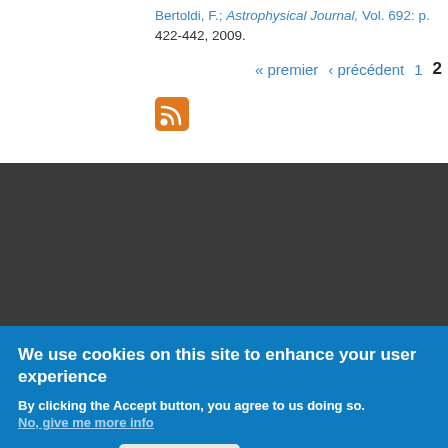Bertoldi, F.; Astrophysical Journal, Vol. 692: p. 422-442, 2009.
« premier  ‹ précédent  1  2
[Figure (other): RSS feed icon, orange square with white signal waves]
We use cookies on this site to enhance your user experience
By clicking the Accept button, you agree to us doing so.
No, give me more info
OK, I agree
No, thanks